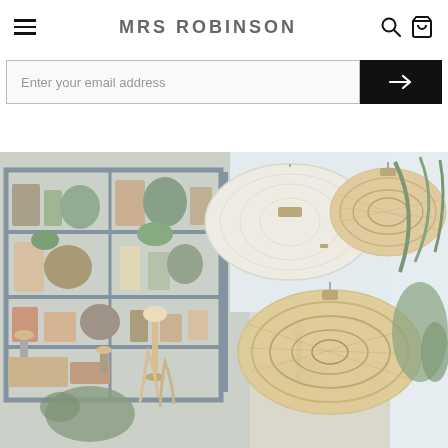MRS ROBINSON
Enter your email address
[Figure (photo): Interior of Mrs Robinson store showing shelving units with plants, vases, decorative items, and large hanging pendant lamps (white paper and wicker/rattan) in a bright retail space]